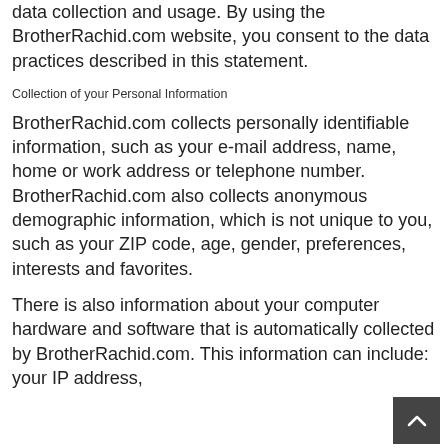data collection and usage. By using the BrotherRachid.com website, you consent to the data practices described in this statement.
Collection of your Personal Information
BrotherRachid.com collects personally identifiable information, such as your e-mail address, name, home or work address or telephone number. BrotherRachid.com also collects anonymous demographic information, which is not unique to you, such as your ZIP code, age, gender, preferences, interests and favorites.
There is also information about your computer hardware and software that is automatically collected by BrotherRachid.com. This information can include: your IP address,